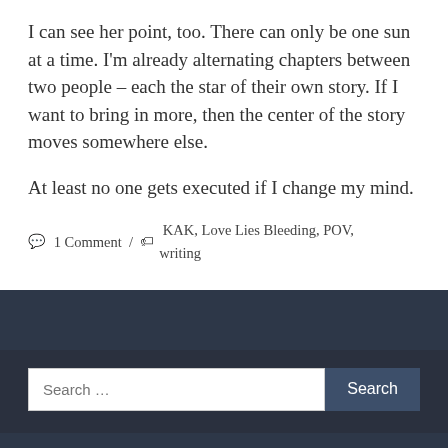I can see her point, too. There can only be one sun at a time. I'm already alternating chapters between two people – each the star of their own story. If I want to bring in more, then the center of the story moves somewhere else.
At least no one gets executed if I change my mind.
1 Comment / KAK, Love Lies Bleeding, POV, writing
Search …